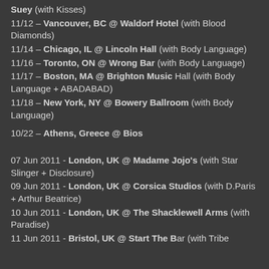Suey (with Kisses)
11/12 – Vancouver, BC @ Waldorf Hotel (with Blood Diamonds)
11/14 – Chicago, IL @ Lincoln Hall (with Body Language)
11/16 – Toronto, ON @ Wrong Bar (with Body Language)
11/17 – Boston, MA @ Brighton Music Hall (with Body Language + ABADABAD)
11/18 – New York, NY @ Bowery Ballroom (with Body Language)
10/22 – Athens, Greece @ Bios
07 Jun 2011 - London, UK @ Madame Jojo's (with Star Slinger + Disclosure)
09 Jun 2011 - London, UK @ Corsica Studios (with D.Paris + Arthur Beatrice)
10 Jun 2011 - London, UK @ The Shacklewell Arms (with Paradise)
11 Jun 2011 - Bristol, UK @ Start The Bar (with Tribes)